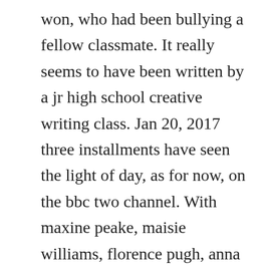won, who had been bullying a fellow classmate. It really seems to have been written by a jr high school creative writing class. Jan 20, 2017 three installments have seen the light of day, as for now, on the bbc two channel. With maxine peake, maisie williams, florence pugh, anna burnett. The actress is currently working on the xfiles season 11 with david duchovny. Jun 23, 2014 afterbuzz tv falling skies edition, is a weekly after show for fans of tnts falling skies. Near the end of the season, a public defender is shot, and the